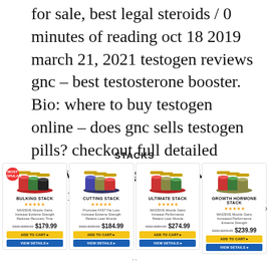for sale, best legal steroids / 0 minutes of reading oct 18 2019 march 21, 2021 testogen reviews gnc – best testosterone booster. Bio: where to buy testogen online – does gnc sells testogen pills? checkout full detailed review on testogen gnc! view my content
STACKS
[Figure (other): Product cards showing four supplement stacks: BULKING STACK ($179.99), CUTTING STACK ($184.99), ULTIMATE STACK ($274.99), GROWTH HORMONE STACK ($239.99), each with product image, star rating, description, ADD TO CART and VIEW DETAILS buttons.]